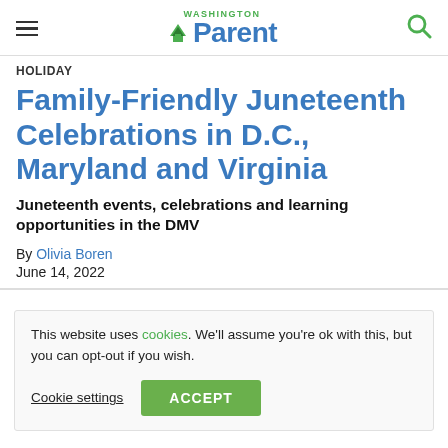Washington Parent — navigation header with hamburger menu, logo, and search icon
HOLIDAY
Family-Friendly Juneteenth Celebrations in D.C., Maryland and Virginia
Juneteenth events, celebrations and learning opportunities in the DMV
By Olivia Boren
June 14, 2022
This website uses cookies. We'll assume you're ok with this, but you can opt-out if you wish. Cookie settings | ACCEPT